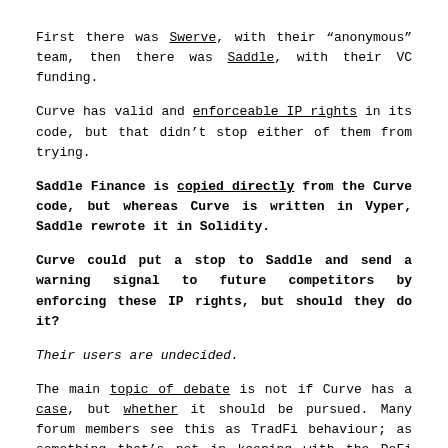First there was Swerve, with their “anonymous” team, then there was Saddle, with their VC funding.
Curve has valid and enforceable IP rights in its code, but that didn’t stop either of them from trying.
Saddle Finance is copied directly from the Curve code, but whereas Curve is written in Vyper, Saddle rewrote it in Solidity.
Curve could put a stop to Saddle and send a warning signal to future competitors by enforcing these IP rights, but should they do it?
Their users are undecided.
The main topic of debate is not if Curve has a case, but whether it should be pursued. Many forum members see this as TradFi behaviour; as something that’s not in keeping with the DeFi culture of open source reiteration.
But it’s not just Curve who are getting lawyered up.